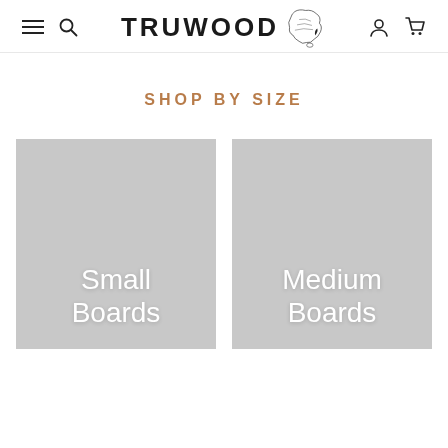TRUWOOD — navigation header with hamburger menu, search, logo, account and cart icons
SHOP BY SIZE
[Figure (photo): Small Boards category tile — grey placeholder image with white text 'Small Boards']
[Figure (photo): Medium Boards category tile — grey placeholder image with white text 'Medium Boards']